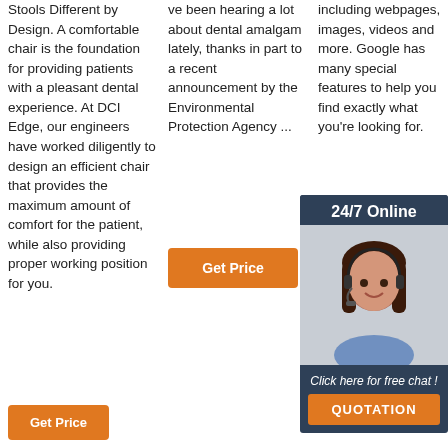Stools Different by Design. A comfortable chair is the foundation for providing patients with a pleasant dental experience. At DCI Edge, our engineers have worked diligently to design an efficient chair that provides the maximum amount of comfort for the patient, while also providing proper working position for you.
ve been hearing a lot about dental amalgam lately, thanks in part to a recent announcement by the Environmental Protection Agency ...
including webpages, images, videos and more. Google has many special features to help you find exactly what you're looking for.
[Figure (other): Chat widget with agent photo, '24/7 Online' header, 'Click here for free chat!' text, and QUOTATION button]
[Figure (other): TOP button with orange dot triangle icon and orange TOP text]
Get Price
Get Price
Get